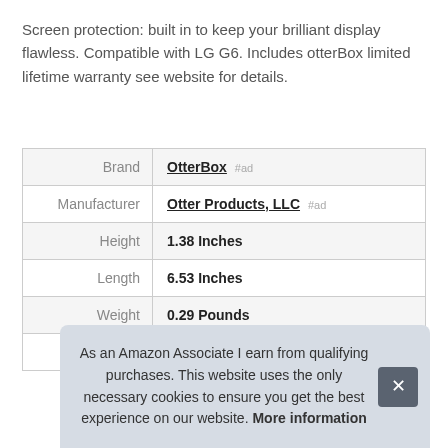Screen protection: built in to keep your brilliant display flawless. Compatible with LG G6. Includes otterBox limited lifetime warranty see website for details.
|  |  |
| --- | --- |
| Brand | OtterBox #ad |
| Manufacturer | Otter Products, LLC #ad |
| Height | 1.38 Inches |
| Length | 6.53 Inches |
| Weight | 0.29 Pounds |
| P |  |
As an Amazon Associate I earn from qualifying purchases. This website uses the only necessary cookies to ensure you get the best experience on our website. More information